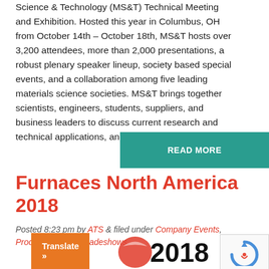Science & Technology (MS&T) Technical Meeting and Exhibition. Hosted this year in Columbus, OH from October 14th – October 18th, MS&T hosts over 3,200 attendees, more than 2,000 presentations, a robust plenary speaker lineup, society based special events, and a collaboration among five leading materials science societies. MS&T brings together scientists, engineers, students, suppliers, and business leaders to discuss current research and technical applications, and to shape the future …
READ MORE
Furnaces North America 2018
Posted 8:23 pm by ATS & filed under Company Events, Process Heating, Tradeshows.
[Figure (logo): Furnaces North America 2018 event logo partially visible at bottom of page]
Translate »